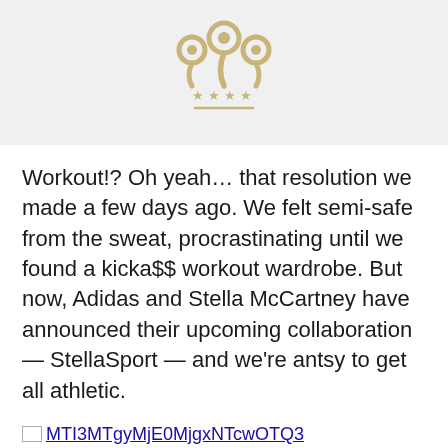[Figure (logo): A gold/tan colored logo featuring map pin icons and stars with a horizontal line beneath]
Workout!?  Oh yeah… that resolution we made a few days ago.  We felt semi-safe from the sweat, procrastinating until we found a kicka$$ workout wardrobe.  But now, Adidas and Stella McCartney have announced their upcoming collaboration — StellaSport — and we're antsy to get all athletic.
MTI3MTgyMjE0MjgxNTcwOTQ3